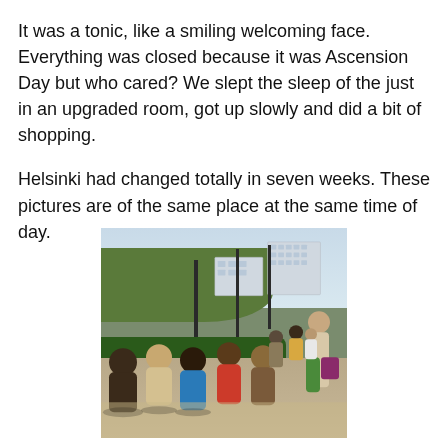It was a tonic, like a smiling welcoming face. Everything was closed because it was Ascension Day but who cared? We slept the sleep of the just in an upgraded room, got up slowly and did a bit of shopping.
Helsinki had changed totally in seven weeks. These pictures are of the same place at the same time of day.
[Figure (photo): Outdoor photo of a sunny park or public square in Helsinki. People are sitting along a low hedge/wall on a sunny day. Trees with spring foliage are visible in the background, along with buildings and street lamps. Many young people are seated along the path enjoying the sunshine.]